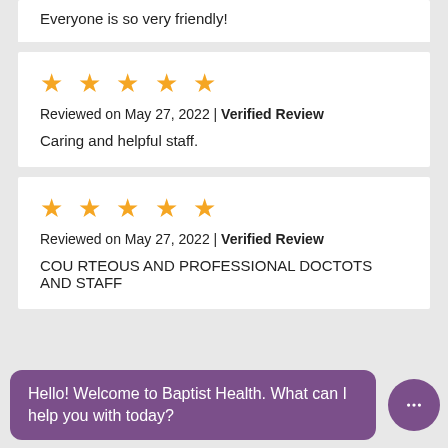Everyone is so very friendly!
★★★★★
Reviewed on May 27, 2022 | Verified Review
Caring and helpful staff.
★★★★★
Reviewed on May 27, 2022 | Verified Review
COU RTEOUS AND PROFESSIONAL DOCTOTS AND STAFF
Hello! Welcome to Baptist Health. What can I help you with today?